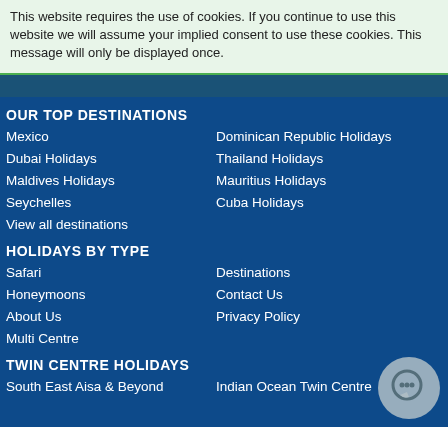This website requires the use of cookies. If you continue to use this website we will assume your implied consent to use these cookies. This message will only be displayed once.
OUR TOP DESTINATIONS
Mexico
Dominican Republic Holidays
Dubai Holidays
Thailand Holidays
Maldives Holidays
Mauritius Holidays
Seychelles
Cuba Holidays
View all destinations
HOLIDAYS BY TYPE
Safari
Destinations
Honeymoons
Contact Us
About Us
Privacy Policy
Multi Centre
TWIN CENTRE HOLIDAYS
South East Aisa & Beyond
Indian Ocean Twin Centre